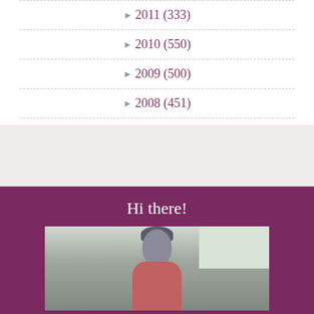► 2011 (333)
► 2010 (550)
► 2009 (500)
► 2008 (451)
► 2007 (391)
Hi there!
[Figure (photo): Photo of a person with short dark hair, partial portrait, outdoors background]